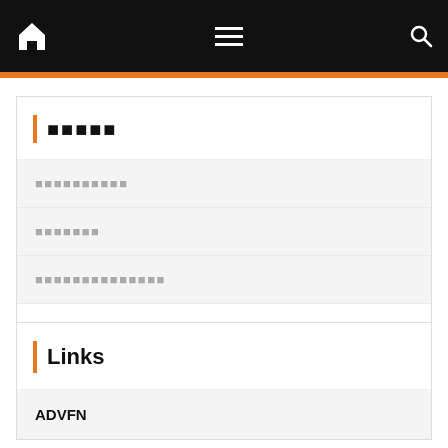Navigation bar with home icon, menu icon, and search icon
■■■■■
■■■■■■■■■■
■■■■■■■
■■■■■■■■■■■■■■
WordPress.org
Links
ADVFN